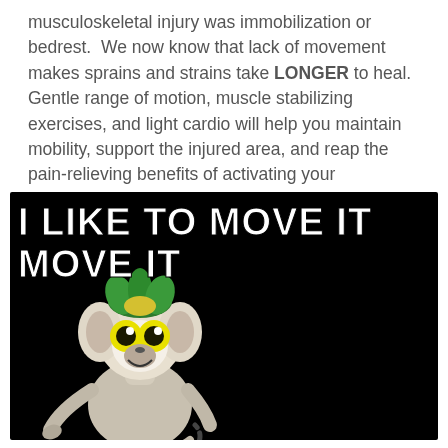musculoskeletal injury was immobilization or bedrest.  We now know that lack of movement makes sprains and strains take LONGER to heal. Gentle range of motion, muscle stabilizing exercises, and light cardio will help you maintain mobility, support the injured area, and reap the pain-relieving benefits of activating your endogenous opioid system (built in pain management)!
[Figure (illustration): A meme image with black background featuring King Julien (animated lemur character from Madagascar) with large yellow eyes, wearing a green leafy crown. Bold white text at the top reads: I LIKE TO MOVE IT MOVE IT]